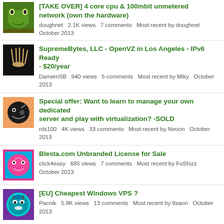[TAKE OVER] 4 core cpu &amp; 100mbit unmetered network (own the hardware)
doughnet  2.1K views  7 comments  Most recent by doughnet  October 2013
SupremeBytes, LLC - OpenVZ in Los Angeles - IPv6 Ready - $20/year
DamienSB  940 views  5 comments  Most recent by Miky  October 2013
Special offer: Want to learn to manage your own dedicated server and play with virtualization? -SOLD
rds100  4K views  33 comments  Most recent by Neoon  October 2013
Blesta.com Unbranded License for Sale
click4easy  685 views  7 comments  Most recent by FoShizz  October 2013
[EU] Cheapest Windows VPS ?
Pacnik  5.8K views  13 comments  Most recent by ttsaon  October 2013
Maximum_VPS || KVM Starting at 2.74/m || IPv6 || Los Angeles || 1 Gbps
Maximum_VPS  4.4K views  42 comments  Most recent by Maximum_VPS  October 2013
(partial item at bottom)